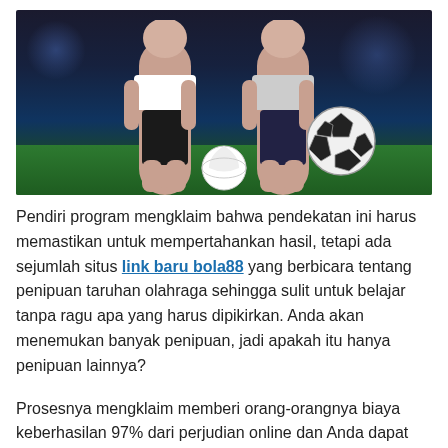[Figure (photo): Two women posing with a volleyball/soccer ball on a grass field with stadium lighting background. A soccer ball is visible on the right side.]
Pendiri program mengklaim bahwa pendekatan ini harus memastikan untuk mempertahankan hasil, tetapi ada sejumlah situs link baru bola88 yang berbicara tentang penipuan taruhan olahraga sehingga sulit untuk belajar tanpa ragu apa yang harus dipikirkan. Anda akan menemukan banyak penipuan, jadi apakah itu hanya penipuan lainnya?
Prosesnya mengklaim memberi orang-orangnya biaya keberhasilan 97% dari perjudian online dan Anda dapat